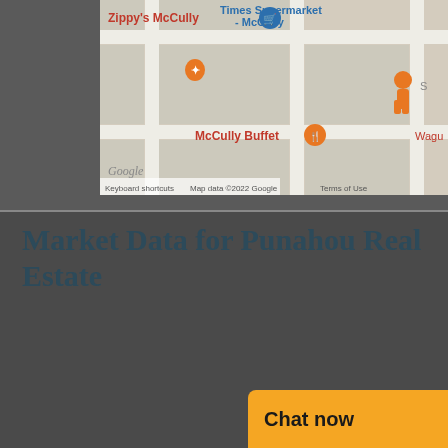[Figure (map): Google Maps screenshot showing McCully neighborhood in Honolulu, Hawaii. Visible landmarks include Zippy's McCully (orange label, red), Times Supermarket McCully (blue label with cart pin), McCully Buffet (orange food pin), and a street view person icon. Map footer shows keyboard shortcuts, Map data ©2022 Google, Terms of Use.]
Market Data for Punahou Real Estate
| PUNAHOU | 2022 Q3 | 2022 Q2 | 20… |
| --- | --- | --- | --- |
| Median Sale Price | $58… |  |  |
[Figure (other): Chat now overlay button with orange background and dark chat bubble icon]